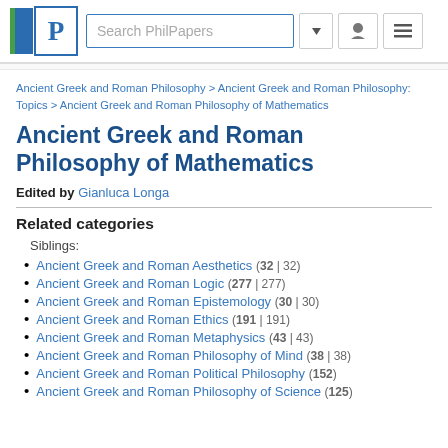[Figure (logo): PhilPapers logo with blue P icon and green bar, search box, and navigation icons]
Ancient Greek and Roman Philosophy > Ancient Greek and Roman Philosophy: Topics > Ancient Greek and Roman Philosophy of Mathematics
Ancient Greek and Roman Philosophy of Mathematics
Edited by Gianluca Longa
Related categories
Siblings:
Ancient Greek and Roman Aesthetics (32 | 32)
Ancient Greek and Roman Logic (277 | 277)
Ancient Greek and Roman Epistemology (30 | 30)
Ancient Greek and Roman Ethics (191 | 191)
Ancient Greek and Roman Metaphysics (43 | 43)
Ancient Greek and Roman Philosophy of Mind (38 | 38)
Ancient Greek and Roman Political Philosophy (152)
Ancient Greek and Roman Philosophy of Science (125)